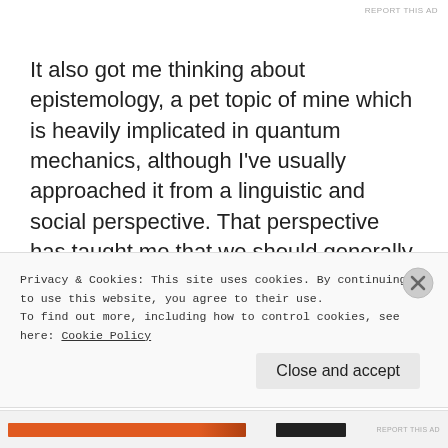It also got me thinking about epistemology, a pet topic of mine which is heavily implicated in quantum mechanics, although I've usually approached it from a linguistic and social perspective. That perspective has taught me that we should generally be a lot less certain about what we think we know, and quantum physics tends to confirm that. Several of the findings of quantum mechanics are frequently held up as 'spooky' (Einstein's term), as counterintuitive, as contradicting the ways that a reasonable person
Privacy & Cookies: This site uses cookies. By continuing to use this website, you agree to their use.
To find out more, including how to control cookies, see here: Cookie Policy
Close and accept